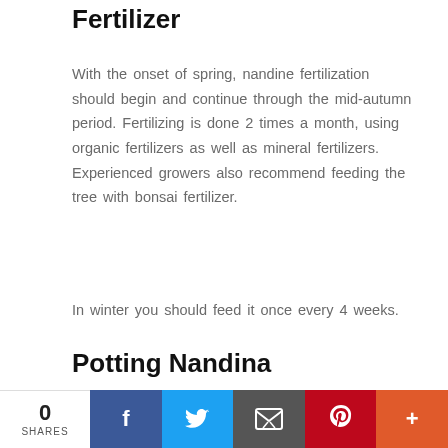Fertilizer
With the onset of spring, nandine fertilization should begin and continue through the mid-autumn period. Fertilizing is done 2 times a month, using organic fertilizers as well as mineral fertilizers. Experienced growers also recommend feeding the tree with bonsai fertilizer.
In winter you should feed it once every 4 weeks.
Potting Nandina
[Figure (photo): Close-up photo of Nandina plant with red and green leaves]
0 SHARES  [Facebook] [Twitter] [Email] [Pinterest] [More]